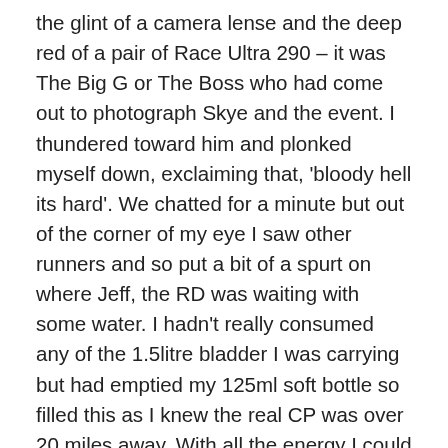the glint of a camera lense and the deep red of a pair of Race Ultra 290 – it was The Big G or The Boss who had come out to photograph Skye and the event. I thundered toward him and plonked myself down, exclaiming that, 'bloody hell its hard'. We chatted for a minute but out of the corner of my eye I saw other runners and so put a bit of a spurt on where Jeff, the RD was waiting with some water. I hadn't really consumed any of the 1.5litre bladder I was carrying but had emptied my 125ml soft bottle so filled this as I knew the real CP was over 20 miles away. With all the energy I could muster I ploughed onwards and importantly upwards (please feel free to correct me if I get names or hills wrong) past Biodha Buidhe and Bein Edra. Both with impressively destructive climbs and equally impressive descents – it was during these sections that I finally started to look around, as much for respite as for